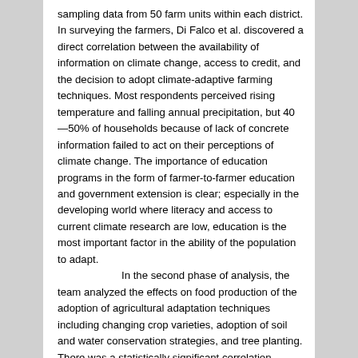sampling data from 50 farm units within each district.  In surveying the farmers, Di Falco et al. discovered a direct correlation between the availability of information on climate change, access to credit, and the decision to adopt climate-adaptive farming techniques.  Most respondents perceived rising temperature and falling annual precipitation, but 40—50% of households because of lack of concrete information failed to act on their perceptions of climate change.  The importance of education programs in the form of farmer-to-farmer education and government extension is clear; especially in the developing world where literacy and access to current climate research are low, education is the most important factor in the ability of the population to adapt.  In the second phase of analysis, the team analyzed the effects on food production of the adoption of agricultural adaptation techniques including changing crop varieties, adoption of soil and water conservation strategies, and tree planting.  There was a statistically significant correlation between rainfall and food production only in the households that did not adapt—leading the